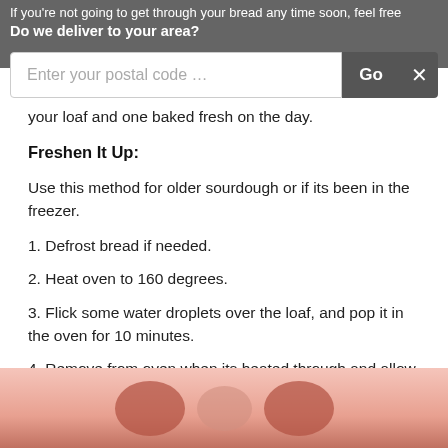If you're not going to get through your bread any time soon, feel free
Do we deliver to your area?
your loaf and one baked fresh on the day.
Freshen It Up:
Use this method for older sourdough or if its been in the freezer.
1. Defrost bread if needed.
2. Heat oven to 160 degrees.
3. Flick some water droplets over the loaf, and pop it in the oven for 10 minutes.
4. Remove from oven when its heated through and allow to cool to room temperature.
Ta-da! Your loaf is back to its delicious best.
[Figure (photo): Photo of bread or baked goods at bottom of page]